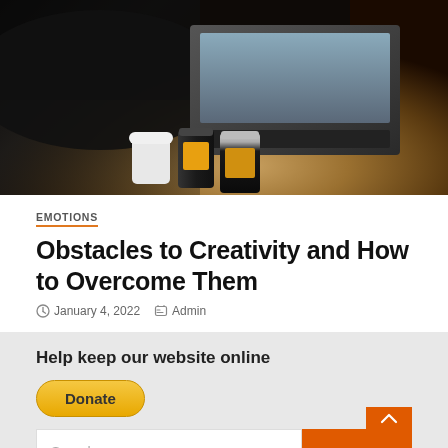[Figure (photo): Person working on a laptop at a desk with a coffee cup and two dark cans (energy drinks) nearby, shot from above at an angle]
EMOTIONS
Obstacles to Creativity and How to Overcome Them
January 4, 2022   Admin
Help keep our website online
Donate
Search ...